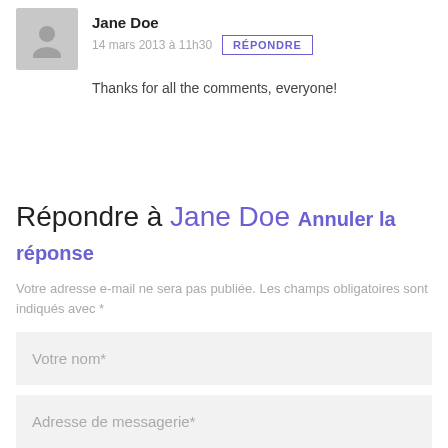Jane Doe
14 mars 2013 à 11h30
RÉPONDRE
Thanks for all the comments, everyone!
Répondre à Jane Doe Annuler la réponse
Votre adresse e-mail ne sera pas publiée. Les champs obligatoires sont indiqués avec *
Votre nom*
Adresse de messagerie*
Votre site web (facultatif)